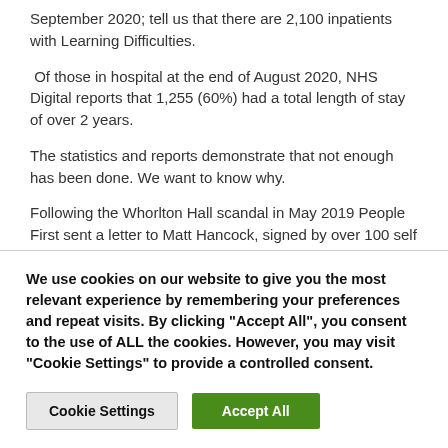September 2020; tell us that there are 2,100 inpatients with Learning Difficulties.
Of those in hospital at the end of August 2020, NHS Digital reports that 1,255 (60%) had a total length of stay of over 2 years.
The statistics and reports demonstrate that not enough has been done. We want to know why.
Following the Whorlton Hall scandal in May 2019 People First sent a letter to Matt Hancock, signed by over 100 self advocates, asking that he starts talking directly to, and listening to:
We use cookies on our website to give you the most relevant experience by remembering your preferences and repeat visits. By clicking "Accept All", you consent to the use of ALL the cookies. However, you may visit "Cookie Settings" to provide a controlled consent.